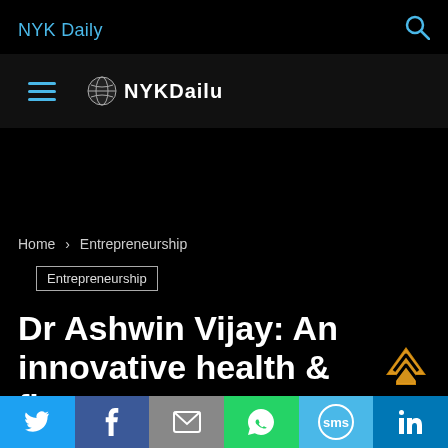NYK Daily
[Figure (logo): NYK Daily logo with globe icon and hamburger menu icon]
Home › Entrepreneurship
Entrepreneurship
Dr Ashwin Vijay: An innovative health & fitness content creator modifying the lives of many